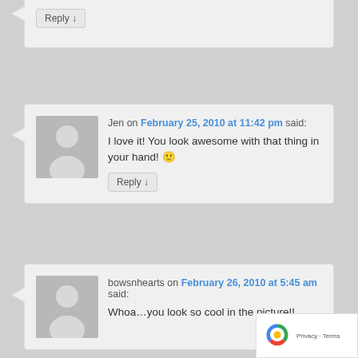Reply ↓
[Figure (illustration): Default user avatar - grey silhouette of a person on grey background]
Jen on February 25, 2010 at 11:42 pm said:
I love it! You look awesome with that thing in your hand! 🙂
Reply ↓
[Figure (illustration): Default user avatar - grey silhouette of a person on grey background]
bowsnhearts on February 26, 2010 at 5:45 am said:
Whoa…you look so cool in the picture!!